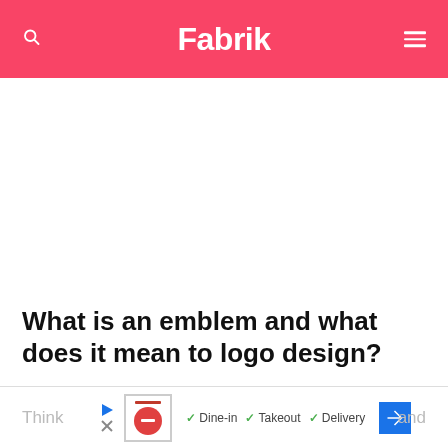Fabrik
[Figure (other): Large white advertisement/blank space below the header navigation bar]
What is an emblem and what does it mean to logo design?
You already know that your logo is a visual representation of everything you stand for.
[Figure (other): Advertisement banner at bottom showing restaurant options: Dine-in, Takeout, Delivery with a circular icon and navigation arrow]